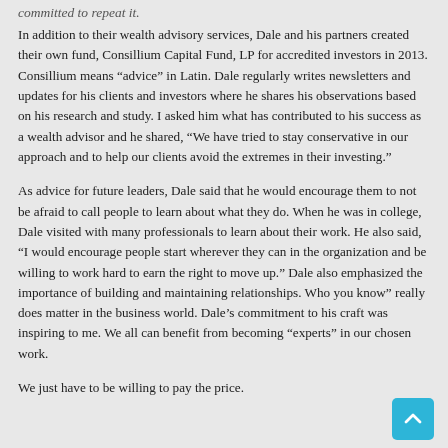committed to repeat it.
In addition to their wealth advisory services, Dale and his partners created their own fund, Consillium Capital Fund, LP for accredited investors in 2013. Consillium means “advice” in Latin. Dale regularly writes newsletters and updates for his clients and investors where he shares his observations based on his research and study. I asked him what has contributed to his success as a wealth advisor and he shared, “We have tried to stay conservative in our approach and to help our clients avoid the extremes in their investing.”
As advice for future leaders, Dale said that he would encourage them to not be afraid to call people to learn about what they do. When he was in college, Dale visited with many professionals to learn about their work. He also said, “I would encourage people start wherever they can in the organization and be willing to work hard to earn the right to move up.” Dale also emphasized the importance of building and maintaining relationships. Who you know” really does matter in the business world. Dale’s commitment to his craft was inspiring to me. We all can benefit from becoming “experts” in our chosen work.
We just have to be willing to pay the price.